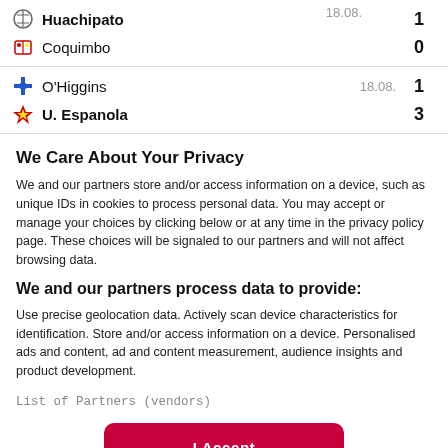| Team | Date | Score |
| --- | --- | --- |
| Huachipato | 18.08. | 1 |
| Coquimbo |  | 0 |
| O'Higgins | 18.08. | 1 |
| U. Espanola |  | 3 |
We Care About Your Privacy
We and our partners store and/or access information on a device, such as unique IDs in cookies to process personal data. You may accept or manage your choices by clicking below or at any time in the privacy policy page. These choices will be signaled to our partners and will not affect browsing data.
We and our partners process data to provide:
Use precise geolocation data. Actively scan device characteristics for identification. Store and/or access information on a device. Personalised ads and content, ad and content measurement, audience insights and product development.
List of Partners (vendors)
I Accept
Reject All
Show Purposes